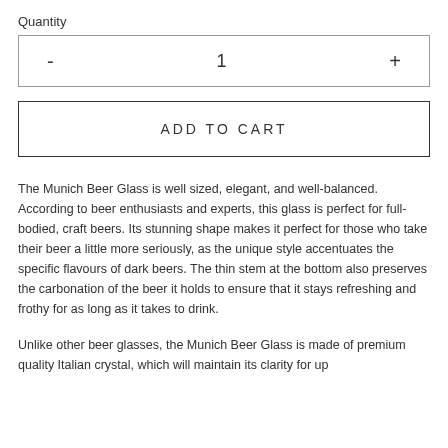Quantity
- 1 +
ADD TO CART
The Munich Beer Glass is well sized, elegant, and well-balanced. According to beer enthusiasts and experts, this glass is perfect for full-bodied, craft beers. Its stunning shape makes it perfect for those who take their beer a little more seriously, as the unique style accentuates the specific flavours of dark beers. The thin stem at the bottom also preserves the carbonation of the beer it holds to ensure that it stays refreshing and frothy for as long as it takes to drink.
Unlike other beer glasses, the Munich Beer Glass is made of premium quality Italian crystal, which will maintain its clarity for up